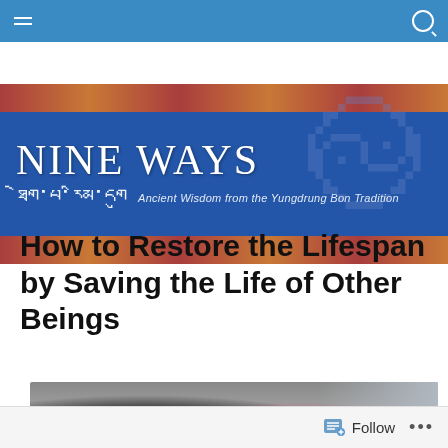Navigation bar with menu and search icons
[Figure (illustration): NINE WAYS blog header banner with blue background, Tibetan script, decorative orange/red strips top and bottom, and subtitle 'Ancient Wisdom from the Yungdrung Bon Tradition']
How to Restore the Lifespan by Saving the Life of Other Beings
[Figure (photo): Partial photo showing dark animal silhouette on left and person in pink/red shirt on right, against a gray background]
Follow ...